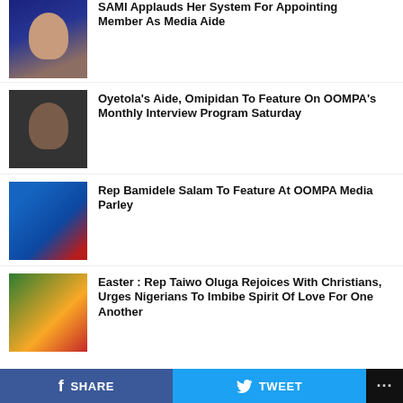SAMI Applauds Her System For Appointing Member As Media Aide
[Figure (photo): Woman wearing blue headwrap smiling]
[Figure (photo): Man speaking into microphone]
Oyetola's Aide, Omipidan To Feature On OOMPA's Monthly Interview Program Saturday
[Figure (photo): OOMPA Media Parley event banner with Rep Bamidele Salam]
Rep Bamidele Salam To Feature At OOMPA Media Parley
[Figure (photo): Woman wearing colorful headwrap speaking to media]
Easter : Rep Taiwo Oluga Rejoices With Christians, Urges Nigerians To Imbibe Spirit Of Love For One Another
CLICK TO COMMENT
SHARE   TWEET   ...